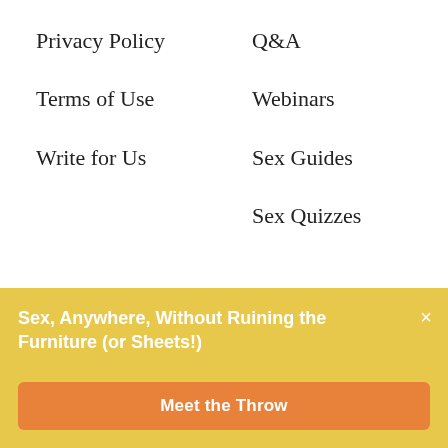Privacy Policy
Q&A
Terms of Use
Webinars
Write for Us
Sex Guides
Sex Quizzes
TOPICS
MORE
Sex, Anywhere, Without Ruining the Furniture (or Sheets!)
Meet the Throw